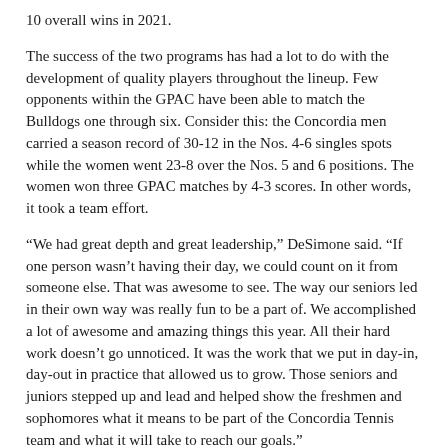10 overall wins in 2021.
The success of the two programs has had a lot to do with the development of quality players throughout the lineup. Few opponents within the GPAC have been able to match the Bulldogs one through six. Consider this: the Concordia men carried a season record of 30-12 in the Nos. 4-6 singles spots while the women went 23-8 over the Nos. 5 and 6 positions. The women won three GPAC matches by 4-3 scores. In other words, it took a team effort.
“We had great depth and great leadership,” DeSimone said. “If one person wasn’t having their day, we could count on it from someone else. That was awesome to see. The way our seniors led in their own way was really fun to be a part of. We accomplished a lot of awesome and amazing things this year. All their hard work doesn’t go unnoticed. It was the work that we put in day-in, day-out in practice that allowed us to grow. Those seniors and juniors stepped up and lead and helped show the freshmen and sophomores what it means to be part of the Concordia Tennis team and what it will take to reach our goals.”
A combined 12 Bulldogs wound up earning some form of all-conference recognition. Claudia Miranda Viera (6-1 singles; 6-1 doubles vs. GPAC) and Sofia Morales (5-2 singles; 7-0 doubles vs. GPAC) led the way for the women as All-GPAC performers in singles and doubles. On the men’s side, Joseph Bindl put together an 11-2 singles record with one of his 11 victories clinching a tight home win over Doane. Luke Zoller returned to the program for a fifth year and put up seven singles wins while playing in several different spots in the lineup.
For the season totals Doane April 20 accepted the f...